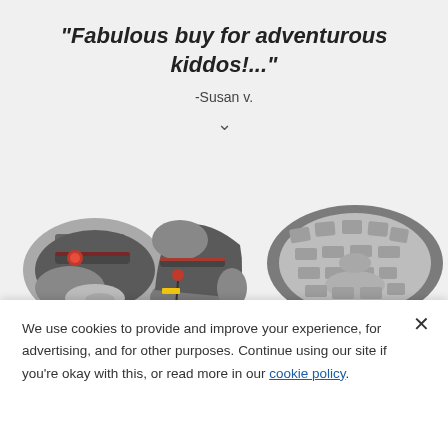"Fabulous buy for adventurous kiddos!..."
-Susan v.
[Figure (photo): Two children's sandals shown from top-down angle and a sole view of the sandal, dark gray/black with red accents and gray rubber sole with tread pattern]
We use cookies to provide and improve your experience, for advertising, and for other purposes. Continue using our site if you're okay with this, or read more in our cookie policy.